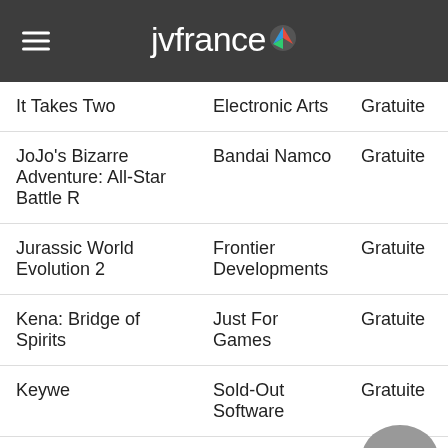jvfrance
| Game | Publisher | Price |
| --- | --- | --- |
| It Takes Two | Electronic Arts | Gratuite |
| JoJo's Bizarre Adventure: All-Star Battle R | Bandai Namco | Gratuite |
| Jurassic World Evolution 2 | Frontier Developments | Gratuite |
| Kena: Bridge of Spirits | Just For Games | Gratuite |
| Keywe | Sold-Out Software | Gratuite |
| Klonoa | Bandai | Gratuite |